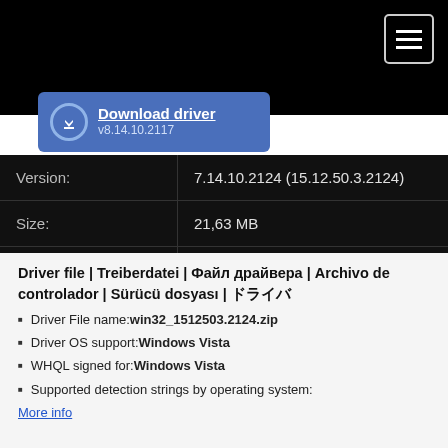[Figure (screenshot): Download driver button with blue background, showing 'Download driver' text in bold white underlined and 'v8.14.10.2117' version text, with a download icon circle on left.]
| Field | Value |
| --- | --- |
| Version: | 7.14.10.2124 (15.12.50.3.2124) |
| Size: | 21,63 MB |
| Release: | 2010-05-05 [May '10] |
| Downloaded: | 22× |
Driver file | Treiberdatei | Файл драйвера | Archivo de controlador | Sürücü dosyası | ドライバ
Driver File name: win32_1512503.2124.zip
Driver OS support: Windows Vista
WHQL signed for: Windows Vista
Supported detection strings by operating system:
More info